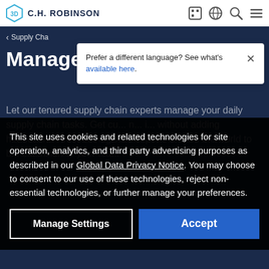C.H. ROBINSON
Prefer a different language? See what's available here.
Supply Cha...
Managed Services
Let our tenured supply chain experts manage your daily supply chain tasks. Get cu... n... i... without adding headcount—trust our logistics experts around the world to b... extension of your tea...
This site uses cookies and related technologies for site operation, analytics, and third party advertising purposes as described in our Global Data Privacy Notice. You may choose to consent to our use of these technologies, reject non-essential technologies, or further manage your preferences.
Manage Settings
Accept